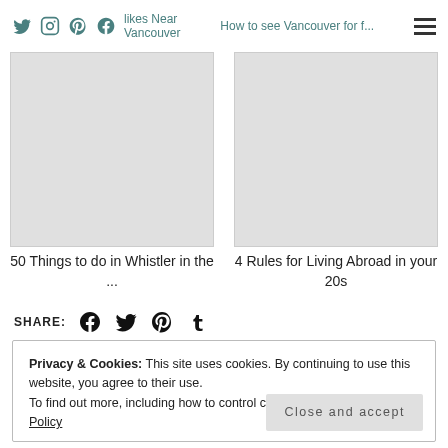Social icons | likes Near Vancouver | How to see Vancouver for f... | hamburger menu
[Figure (illustration): Two article cards side by side with gray placeholder images]
50 Things to do in Whistler in the ...
4 Rules for Living Abroad in your 20s
SHARE: [Facebook] [Twitter] [Pinterest] [Tumblr]
Privacy & Cookies: This site uses cookies. By continuing to use this website, you agree to their use.
To find out more, including how to control cookies, see here: Cookie Policy
Close and accept